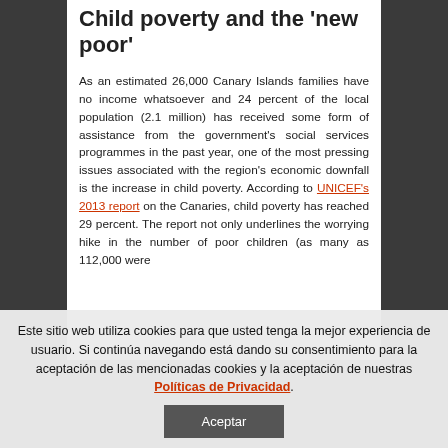Child poverty and the 'new poor'
As an estimated 26,000 Canary Islands families have no income whatsoever and 24 percent of the local population (2.1 million) has received some form of assistance from the government's social services programmes in the past year, one of the most pressing issues associated with the region's economic downfall is the increase in child poverty. According to UNICEF's 2013 report on the Canaries, child poverty has reached 29 percent. The report not only underlines the worrying hike in the number of poor children (as many as 112,000 were
Este sitio web utiliza cookies para que usted tenga la mejor experiencia de usuario. Si continúa navegando está dando su consentimiento para la aceptación de las mencionadas cookies y la aceptación de nuestras Políticas de Privacidad.